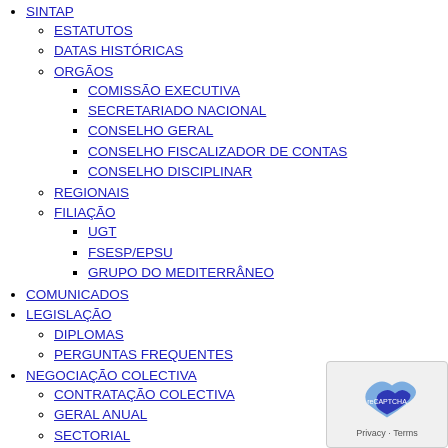SINTAP
ESTATUTOS
DATAS HISTÓRICAS
ORGÃOS
COMISSÃO EXECUTIVA
SECRETARIADO NACIONAL
CONSELHO GERAL
CONSELHO FISCALIZADOR DE CONTAS
CONSELHO DISCIPLINAR
REGIONAIS
FILIAÇÃO
UGT
FSESP/EPSU
GRUPO DO MEDITERRÂNEO
COMUNICADOS
LEGISLAÇÃO
DIPLOMAS
PERGUNTAS FREQUENTES
NEGOCIAÇÃO COLECTIVA
CONTRATAÇÃO COLECTIVA
GERAL ANUAL
SECTORIAL
IMPRENSA
PARCERIAS
GALERIA